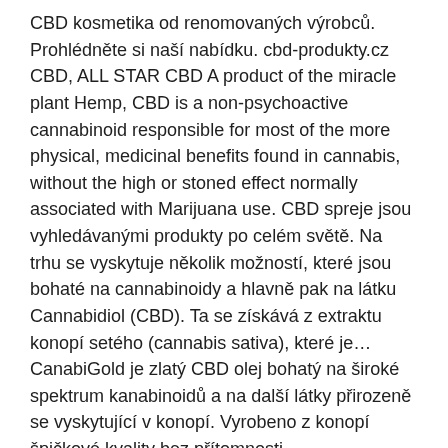CBD kosmetika od renomovaných výrobců. Prohlédněte si naší nabídku. cbd-produkty.cz CBD, ALL STAR CBD A product of the miracle plant Hemp, CBD is a non-psychoactive cannabinoid responsible for most of the more physical, medicinal benefits found in cannabis, without the high or stoned effect normally associated with Marijuana use. CBD spreje jsou vyhledávanými produkty po celém světě. Na trhu se vyskytuje několik možností, které jsou bohaté na cannabinoidy a hlavně pak na látku Cannabidiol (CBD). Ta se získává z extraktu konopí setého (cannabis sativa), které je… CanabiGold je zlatý CBD olej bohatý na široké spektrum kanabinoidů a na další látky přirozeně se vyskytující v konopí. Vyrobeno z konopí špičkové kvality bez přítomnosti
cbd🈷🈷🈷🈷🈷🈷🈷🈷🈷🈷🈷🈷
cbd das öl oregon
cbd في boone nc
الوتر الاستخدامات الطبية القنب